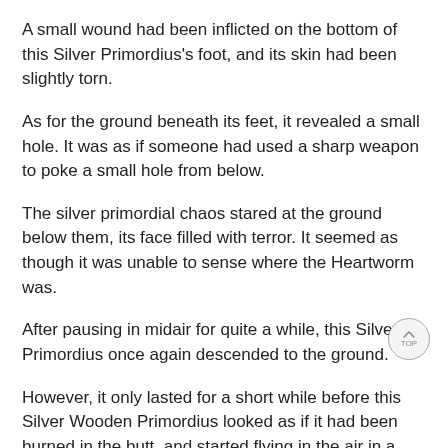A small wound had been inflicted on the bottom of this Silver Primordius's foot, and its skin had been slightly torn.
As for the ground beneath its feet, it revealed a small hole. It was as if someone had used a sharp weapon to poke a small hole from below.
The silver primordial chaos stared at the ground below them, its face filled with terror. It seemed as though it was unable to sense where the Heartworm was.
After pausing in midair for quite a while, this Silver Primordius once again descended to the ground.
However, it only lasted for a short while before this Silver Wooden Primordius looked as if it had been burned in the butt, and started flying in the air in a panic. Another wound had appeared on its other foot, slightly more serious than the one on the other foot.
This time, it didn't dare to fall to the ground no matter what. It floated in the air and looked at Han Weiwei for help.